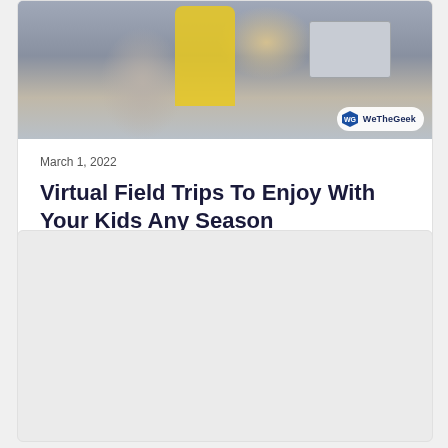[Figure (photo): Photo of a child in a yellow hoodie using a laptop with an adult, WeTheGeek watermark badge in bottom right corner]
March 1, 2022
Virtual Field Trips To Enjoy With Your Kids Any Season
[Figure (photo): Gray placeholder card below the article card]